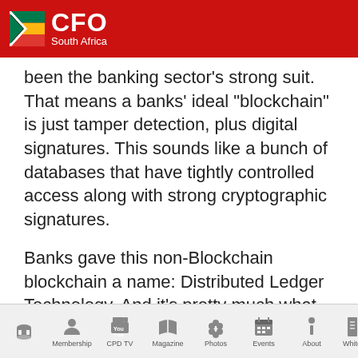CFO South Africa
been the banking sector’s strong suit. That means a banks’ ideal “blockchain” is just tamper detection, plus digital signatures. This sounds like a bunch of databases that have tightly controlled access along with strong cryptographic signatures.
Banks gave this non-Blockchain blockchain a name: Distributed Ledger Technology. And it’s pretty much what SWIFT already does.
Verdict: Do banks need Blockchain? Nah. They want
Home Membership CPD TV Magazine Photos Events About Whitepaper